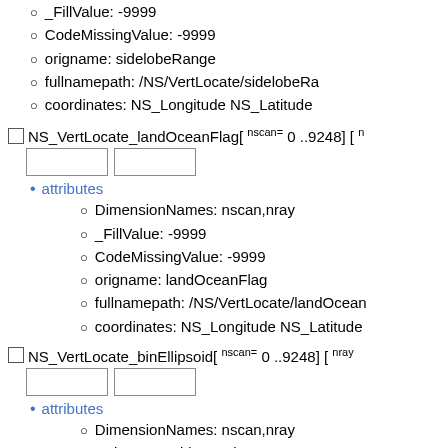_FillValue: -9999
CodeMissingValue: -9999
origname: sidelobeRange
fullnamepath: /NS/VertLocate/sidelobeRa...
coordinates: NS_Longitude NS_Latitude
NS_VertLocate_landOceanFlag[ nscan= 0 ..9248] [ n...
attributes
DimensionNames: nscan,nray
_FillValue: -9999
CodeMissingValue: -9999
origname: landOceanFlag
fullnamepath: /NS/VertLocate/landOcean...
coordinates: NS_Longitude NS_Latitude
NS_VertLocate_binEllipsoid[ nscan= 0 ..9248] [ nray...
attributes
DimensionNames: nscan,nray
Units: range bin number
units: range bin number
FillValue: -9999